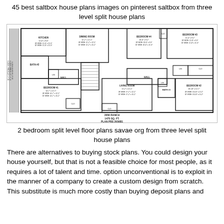45 best saltbox house plans images on pinterest saltbox from three level split house plans
[Figure (engineering-diagram): Floor plan of a 2656 Ranch, 1475 sq. ft., Plan PBS 2656B1, showing multiple bedrooms, bathrooms, kitchen, dining room, living room, hall areas, and closets with dimensions.]
2 bedroom split level floor plans savae org from three level split house plans
There are alternatives to buying stock plans. You could design your house yourself, but that is not a feasible choice for most people, as it requires a lot of talent and time. option unconventional is to exploit in the manner of a company to create a custom design from scratch. This substitute is much more costly than buying deposit plans and